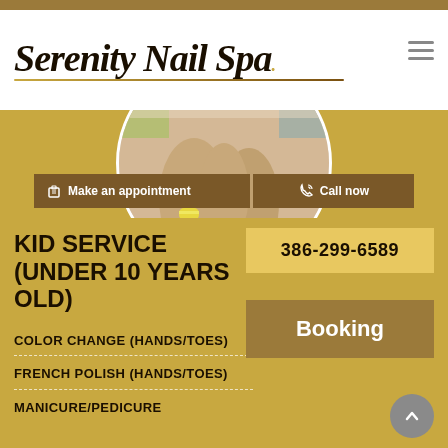Serenity Nail Spa
[Figure (photo): Circular hero image showing colorful nail art on hands/feet with yellow and purple striped nails]
Make an appointment | Call now
KID SERVICE (UNDER 10 YEARS OLD)
386-299-6589
Booking
COLOR CHANGE (HANDS/TOES)
FRENCH POLISH (HANDS/TOES)
MANICURE/PEDICURE